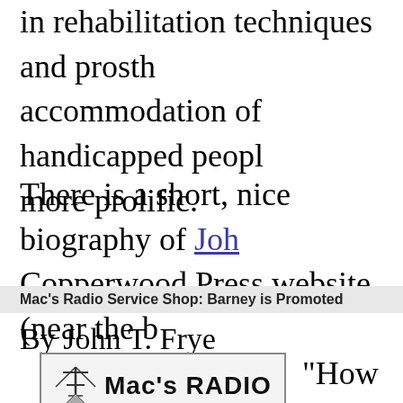in rehabilitation techniques and prosth… accommodation of handicapped peopl… more prolific.
There is a short, nice biography of Joh… Copperwood Press website (near the b…
Mac's Radio Service Shop: Barney is Promoted
By John T. Frye
[Figure (logo): Mac's RADIO logo with antenna tower graphic]
"How